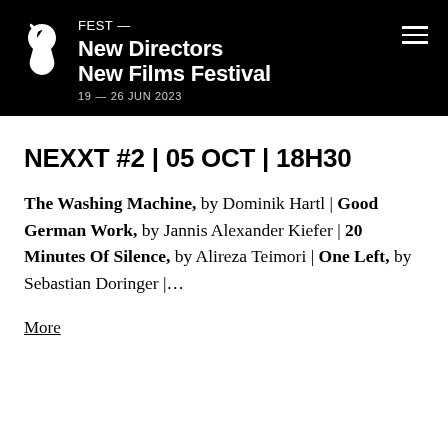[Figure (logo): FEST New Directors New Films Festival header with white horse logo on black background, hamburger menu icon top right. Text: FEST — New Directors New Films Festival, 19 — 26 JUN 2023]
NEXXT #2 | 05 OCT | 18H30
The Washing Machine, by Dominik Hartl | Good German Work, by Jannis Alexander Kiefer | 20 Minutes Of Silence, by Alireza Teimori | One Left, by Sebastian Doringer |…
More